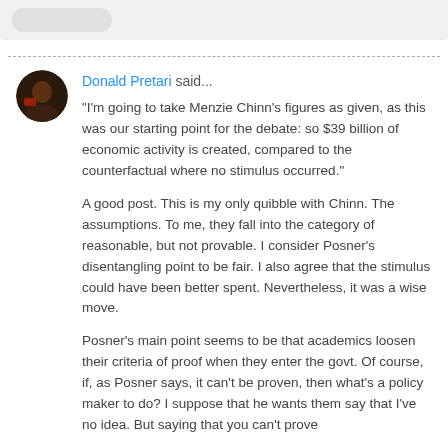Donald Pretari said...
"I'm going to take Menzie Chinn's figures as given, as this was our starting point for the debate: so $39 billion of economic activity is created, compared to the counterfactual where no stimulus occurred."
A good post. This is my only quibble with Chinn. The assumptions. To me, they fall into the category of reasonable, but not provable. I consider Posner's disentangling point to be fair. I also agree that the stimulus could have been better spent. Nevertheless, it was a wise move.
Posner's main point seems to be that academics loosen their criteria of proof when they enter the govt. Of course, if, as Posner says, it can't be proven, then what's a policy maker to do? I suppose that he wants them say that I've no idea. But saying that you can't prove